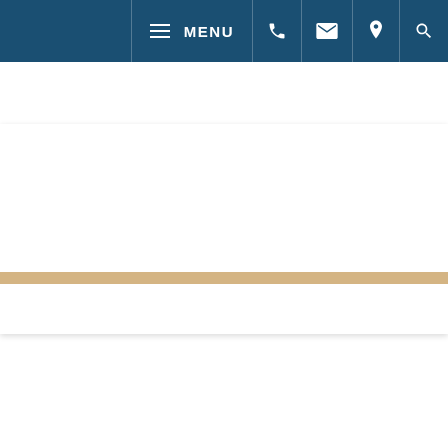MENU navigation bar with phone, email, location, and search icons
[Figure (screenshot): White content area below navigation bar]
[Figure (illustration): Accessibility icon button (wheelchair symbol) on blue footer background]